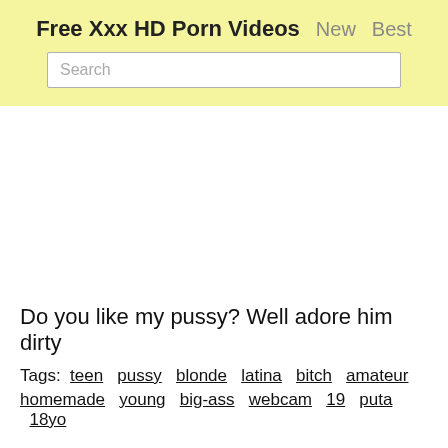Free Xxx HD Porn Videos  New  Best
Search
Do you like my pussy? Well adore him dirty
Tags: teen  pussy  blonde  latina  bitch  amateur
homemade  young  big-ass  webcam  19  puta  18yo